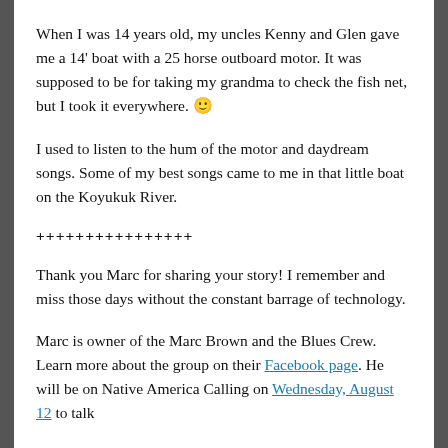When I was 14 years old, my uncles Kenny and Glen gave me a 14' boat with a 25 horse outboard motor. It was supposed to be for taking my grandma to check the fish net, but I took it everywhere. 🙂
I used to listen to the hum of the motor and daydream songs. Some of my best songs came to me in that little boat on the Koyukuk River.
++++++++++++++++
Thank you Marc for sharing your story! I remember and miss those days without the constant barrage of technology.
Marc is owner of the Marc Brown and the Blues Crew. Learn more about the group on their Facebook page. He will be on Native America Calling on Wednesday, August 12 to talk